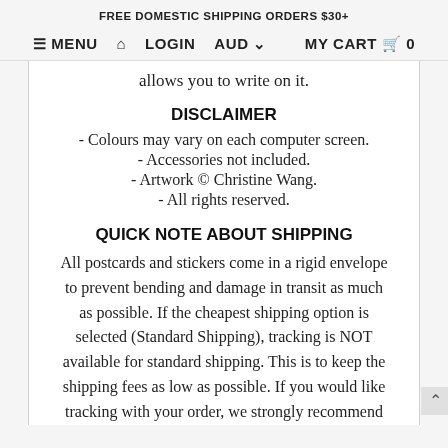FREE DOMESTIC SHIPPING ORDERS $30+
≡ MENU  🏠 LOGIN  AUD ∨     MY CART 🛒 0
allows you to write on it.
DISCLAIMER
- Colours may vary on each computer screen.
- Accessories not included.
- Artwork © Christine Wang.
- All rights reserved.
QUICK NOTE ABOUT SHIPPING
All postcards and stickers come in a rigid envelope to prevent bending and damage in transit as much as possible. If the cheapest shipping option is selected (Standard Shipping), tracking is NOT available for standard shipping. This is to keep the shipping fees as low as possible. If you would like tracking with your order, we strongly recommend